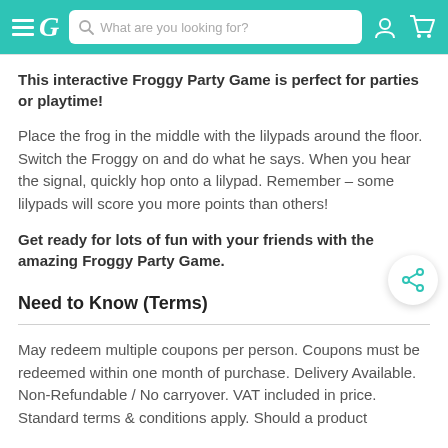EG [search bar: What are you looking for?] [user icon] [cart icon]
This interactive Froggy Party Game is perfect for parties or playtime!
Place the frog in the middle with the lilypads around the floor. Switch the Froggy on and do what he says. When you hear the signal, quickly hop onto a lilypad. Remember – some lilypads will score you more points than others!
Get ready for lots of fun with your friends with the amazing Froggy Party Game.
Need to Know (Terms)
May redeem multiple coupons per person. Coupons must be redeemed within one month of purchase. Delivery Available. Non-Refundable / No carryover. VAT included in price. Standard terms & conditions apply. Should a product